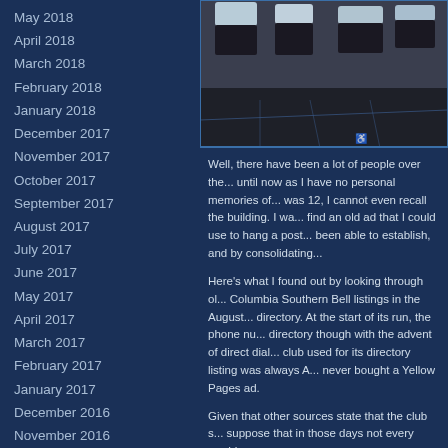May 2018
April 2018
March 2018
February 2018
January 2018
December 2017
November 2017
October 2017
September 2017
August 2017
July 2017
June 2017
May 2017
April 2017
March 2017
February 2017
January 2017
December 2016
November 2016
October 2016
September 2016
August 2016
July 2016
June 2016
May 2016
April 2016
[Figure (photo): Snow-covered parking lot with dark bollards/fixtures, viewed from above]
Well, there have been a lot of people over the... until now as I have no personal memories of... was 12, I cannot even recall the building. I wa... find an old ad that I could use to hang a post... been able to establish, and by consolidating...
Here's what I found out by looking through ol... Columbia Southern Bell listings in the August... directory. At the start of its run, the phone nu... directory though with the advent of direct dial... club used for its directory listing was always A... never bought a Yellow Pages ad.
Given that other sources state that the club s... suppose that in those days not every road-ho... name.
Here's what the Town of Forest Acres says o...